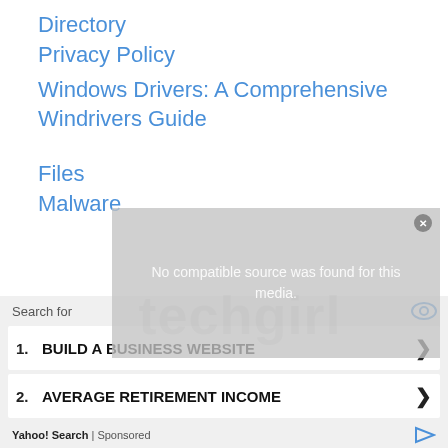Directory
Privacy Policy
Windows Drivers: A Comprehensive Windrivers Guide
Files
Malware
[Figure (screenshot): Ad overlay showing 'No compatible source was found for this media.' with a search panel below containing Yahoo! Search sponsored results: 1. BUILD A BUSINESS WEBSITE, 2. AVERAGE RETIREMENT INCOME]